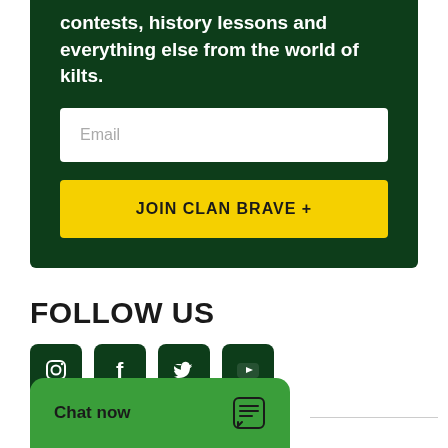contests, history lessons and everything else from the world of kilts.
Email
JOIN CLAN BRAVE +
FOLLOW US
[Figure (other): Social media icons: Instagram, Facebook, Twitter, YouTube — dark green rounded squares]
Chat now